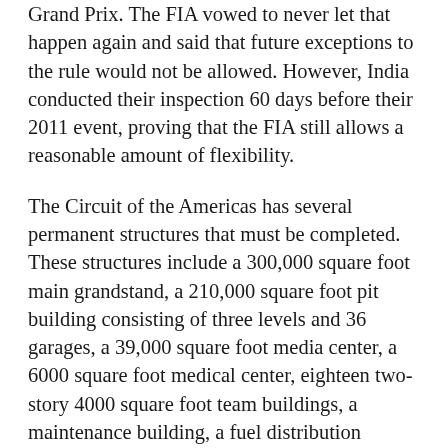Grand Prix. The FIA vowed to never let that happen again and said that future exceptions to the rule would not be allowed. However, India conducted their inspection 60 days before their 2011 event, proving that the FIA still allows a reasonable amount of flexibility.
The Circuit of the Americas has several permanent structures that must be completed. These structures include a 300,000 square foot main grandstand, a 210,000 square foot pit building consisting of three levels and 36 garages, a 39,000 square foot media center, a 6000 square foot medical center, eighteen two-story 4000 square foot team buildings, a maintenance building, a fuel distribution building, the grand plaza, and a variety of ticket booths, bathrooms, concession areas and a couple of helipads.
Of course 100 percent of those structures are not required to...